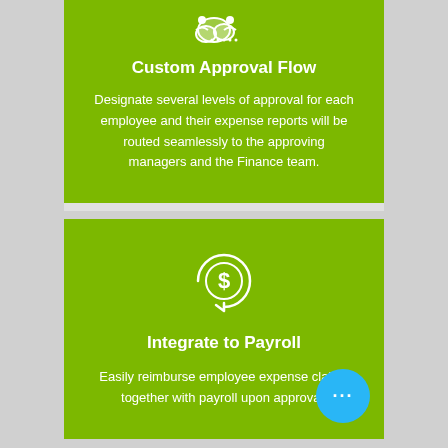[Figure (illustration): White icon of approval/cloud workflow on green background]
Custom Approval Flow
Designate several levels of approval for each employee and their expense reports will be routed seamlessly to the approving managers and the Finance team.
[Figure (illustration): White circular arrow icon with dollar sign in center on green background — representing payroll/reimbursement cycle]
Integrate to Payroll
Easily reimburse employee expense claims together with payroll upon approval.